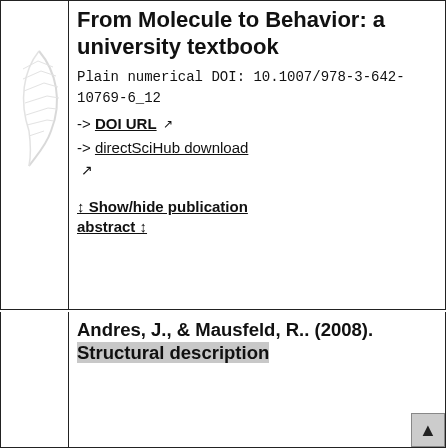From Molecule to Behavior: a university textbook
Plain numerical DOI: 10.1007/978-3-642-10769-6_12
-> DOI URL ↗
-> directSciHub download ↗
↕ Show/hide publication abstract ↕
Andres, J., & Mausfeld, R.. (2008). Structural description